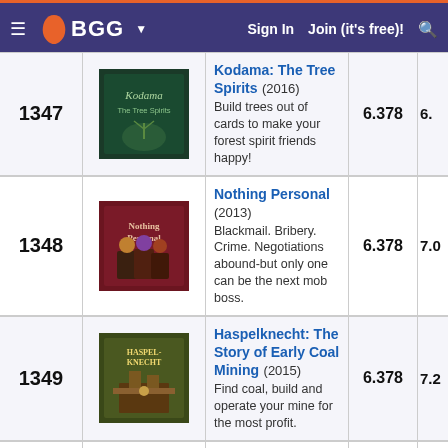BGG — Sign In  Join (it's free)!
| Rank | Image | Game | Score | Score2 |
| --- | --- | --- | --- | --- |
| 1347 |  | Kodama: The Tree Spirits (2016) Build trees out of cards to make your forest spirit friends happy! | 6.378 | 6. |
| 1348 |  | Nothing Personal (2013) Blackmail. Bribery. Crime. Negotiations abound-but only one can be the next mob boss. | 6.378 | 7.0 |
| 1349 |  | Haspelknecht: The Story of Early Coal Mining (2015) Find coal, build and operate your mine for the most profit. | 6.378 | 7.2 |
| 1350 |  | Botanik (2021) Build the best steampunk garden by winning the tiles you need. | 6.378 | 7.7 |
| 1351 |  | Blokus 3D (2003) Construct 3-D structures with your opponents while also trying | 6.377 | 6.7 |